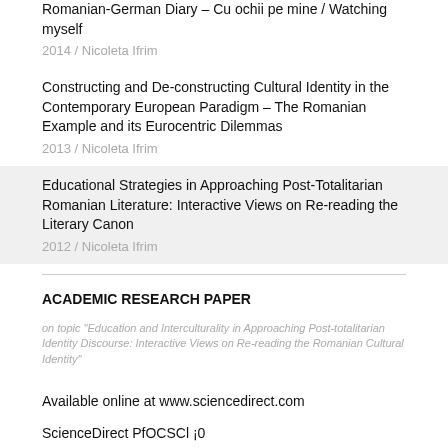Romanian-German Diary – Cu ochii pe mine / Watching myself
2014 / Nicoleta Ifrim
Constructing and De-constructing Cultural Identity in the Contemporary European Paradigm – The Romanian Example and its Eurocentric Dilemmas
2013 / Nicoleta Ifrim
Educational Strategies in Approaching Post-Totalitarian Romanian Literature: Interactive Views on Re-reading the Literary Canon
2012 / Nicoleta Ifrim
ACADEMIC RESEARCH PAPER
on topic "Education and Interculturality in Approaching Post-totalitarian Identity Discourse: Interactive Views on Re-reading the Romanian Cultural Identity"
Available online at www.sciencedirect.com
ScienceDirect PfOCSCl ¡0